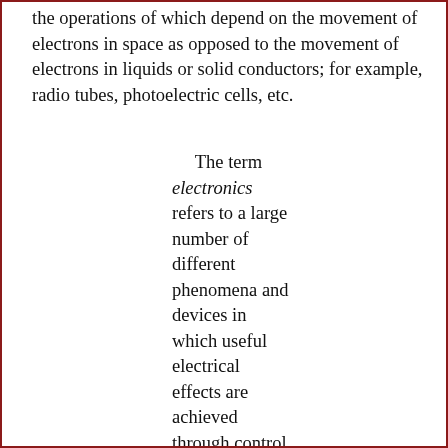the operations of which depend on the movement of electrons in space as opposed to the movement of electrons in liquids or solid conductors; for example, radio tubes, photoelectric cells, etc.
The term electronics refers to a large number of different phenomena and devices in which useful electrical effects are achieved through control of the motion of electrons. The fact